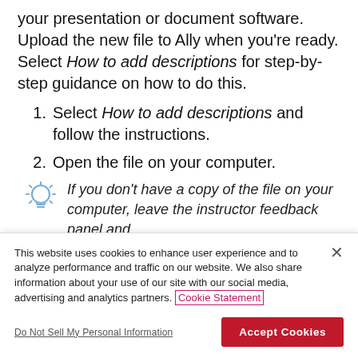your presentation or document software. Upload the new file to Ally when you’re ready. Select How to add descriptions for step-by-step guidance on how to do this.
Select How to add descriptions and follow the instructions.
Open the file on your computer.
If you don’t have a copy of the file on your computer, leave the instructor feedback panel and
This website uses cookies to enhance user experience and to analyze performance and traffic on our website. We also share information about your use of our site with our social media, advertising and analytics partners. Cookie Statement
Do Not Sell My Personal Information
Accept Cookies